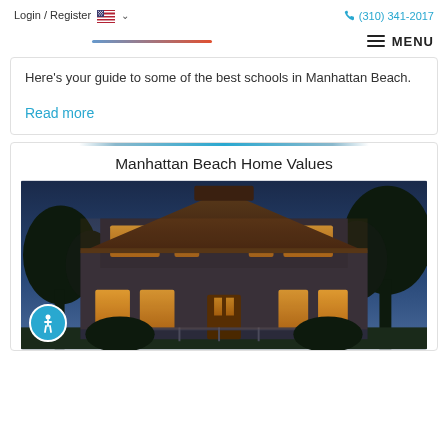Login / Register   🇺🇸 ∨   (310) 341-2017
[Figure (logo): Gradient horizontal line (blue to red-orange) serving as logo/brand bar, with MENU hamburger button on the right]
Here's your guide to some of the best schools in Manhattan Beach.
Read more
Manhattan Beach Home Values
[Figure (photo): Exterior photo of a large luxury home at dusk with warm interior lighting glowing through windows, surrounded by palm trees and other vegetation]